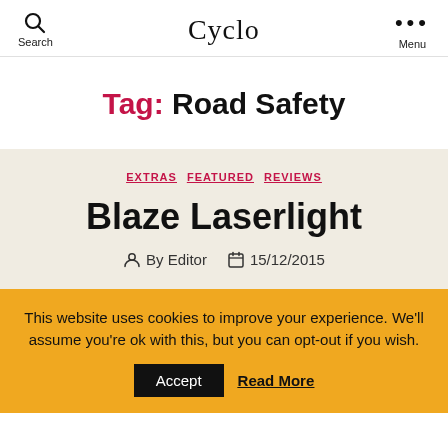Search | Cyclo | Menu
Tag: Road Safety
EXTRAS  FEATURED  REVIEWS
Blaze Laserlight
By Editor  15/12/2015
This website uses cookies to improve your experience. We'll assume you're ok with this, but you can opt-out if you wish. Accept  Read More